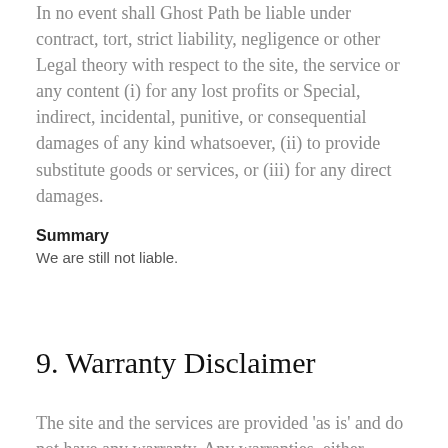In no event shall Ghost Path be liable under contract, tort, strict liability, negligence or other Legal theory with respect to the site, the service or any content (i) for any lost profits or Special, indirect, incidental, punitive, or consequential damages of any kind whatsoever, (ii) to provide substitute goods or services, or (iii) for any direct damages.
Summary
We are still not liable.
9. Warranty Disclaimer
The site and the services are provided 'as is' and do not have any warranty. Any warranties, either